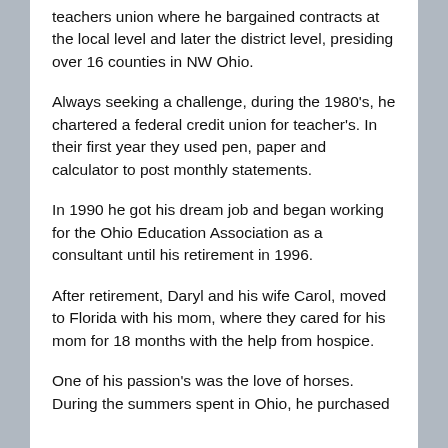teachers union where he bargained contracts at the local level and later the district level, presiding over 16 counties in NW Ohio.
Always seeking a challenge, during the 1980's, he chartered a federal credit union for teacher's. In their first year they used pen, paper and calculator to post monthly statements.
In 1990 he got his dream job and began working for the Ohio Education Association as a consultant until his retirement in 1996.
After retirement, Daryl and his wife Carol, moved to Florida with his mom, where they cared for his mom for 18 months with the help from hospice.
One of his passion's was the love of horses. During the summers spent in Ohio, he purchased